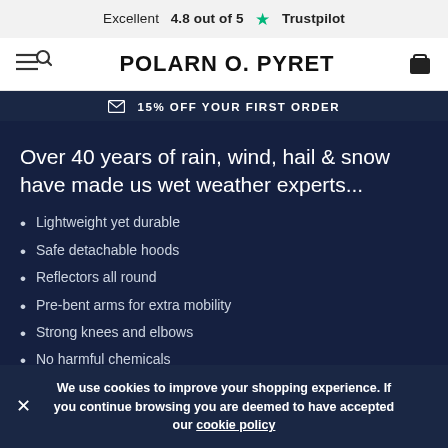Excellent 4.8 out of 5 ★ Trustpilot
[Figure (logo): Polarn O. Pyret logo with hamburger/search menu icon on left and bag icon on right]
✉ 15% OFF YOUR FIRST ORDER
Over 40 years of rain, wind, hail & snow have made us wet weather experts...
Lightweight yet durable
Safe detachable hoods
Reflectors all round
Pre-bent arms for extra mobility
Strong knees and elbows
No harmful chemicals
We use cookies to improve your shopping experience. If you continue browsing you are deemed to have accepted our cookie policy